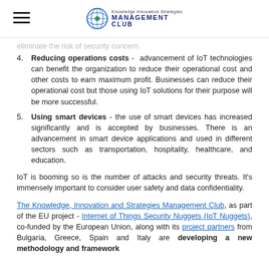Knowledge Innovation Strategies Management Club
eliminate the risk of security concern.
Reducing operations costs - advancement of IoT technologies can benefit the organization to reduce their operational cost and other costs to earn maximum profit. Businesses can reduce their operational cost but those using IoT solutions for their purpose will be more successful.
Using smart devices - the use of smart devices has increased significantly and is accepted by businesses. There is an advancement in smart device applications and used in different sectors such as transportation, hospitality, healthcare, and education.
IoT is booming so is the number of attacks and security threats. It's immensely important to consider user safety and data confidentiality.
The Knowledge, Innovation and Strategies Management Club, as part of the EU project - Internet of Things Security Nuggets (IoT Nuggets), co-funded by the European Union, along with its project partners from Bulgaria, Greece, Spain and Italy are developing a new methodology and framework